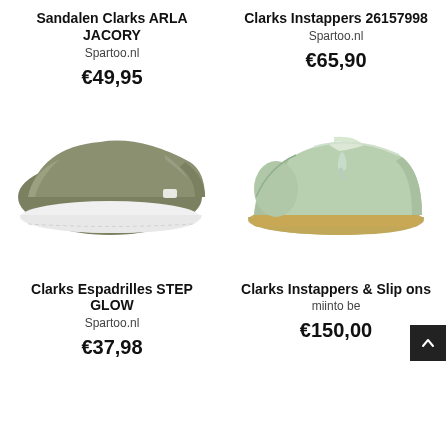Sandalen Clarks ARLA JACORY
Spartoo.nl
€49,95
Clarks Instappers 26157998
Spartoo.nl
€65,90
[Figure (photo): Olive green slip-on espadrille shoe (Clarks ARLA JACORY) with white sole and stitching detail, side view]
[Figure (photo): Light mint green Clarks Wallabee-style moccasin shoe with crepe sole and lace tassel, side view]
Clarks Espadrilles STEP GLOW
Spartoo.nl
€37,98
Clarks Instappers & Slip ons
miinto be
€150,00